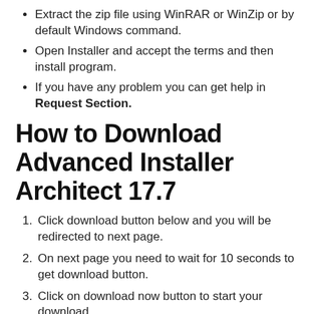Extract the zip file using WinRAR or WinZip or by default Windows command.
Open Installer and accept the terms and then install program.
If you have any problem you can get help in Request Section.
How to Download Advanced Installer Architect 17.7
1. Click download button below and you will be redirected to next page.
2. On next page you need to wait for 10 seconds to get download button.
3. Click on download now button to start your download.
4. Enjoy and bookmark our website, visit us daily for latest and quality downloads.
5. If you have any software request, you can post it in our Request Section.
Password is always: pcwonderland.com